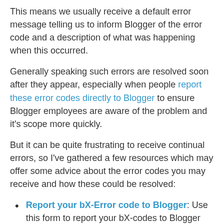This means we usually receive a default error message telling us to inform Blogger of the error code and a description of what was happening when this occurred.
Generally speaking such errors are resolved soon after they appear, especially when people report these error codes directly to Blogger to ensure Blogger employees are aware of the problem and it's scope more quickly.
But it can be quite frustrating to receive continual errors, so I've gathered a few resources which may offer some advice about the error codes you may receive and how these could be resolved:
Report your bX-Error code to Blogger: Use this form to report your bX-codes to Blogger directly.
The Real Blogger Status (BX codes Section): Chuck is doing a great job of documenting error codes and recent issues with Blogger. In this section of his blog, you'll find loads if useful information about bX-error codes, including their